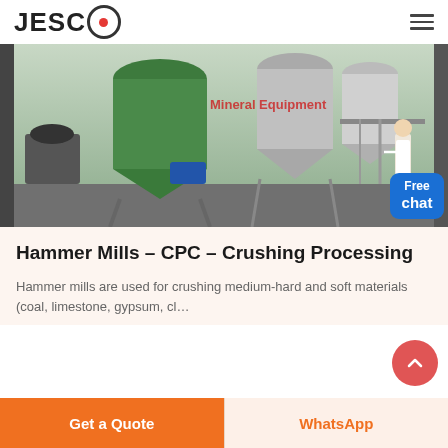JESCO
[Figure (photo): Industrial hammer mill / mineral processing equipment inside a warehouse facility. Large silos and machinery visible. Text overlay reads 'Mineral Equipment'. A female customer service representative figure is visible on the right side.]
Hammer Mills – CPC – Crushing Processing
Hammer mills are used for crushing medium-hard and soft materials (coal, limestone, gypsum, cl…